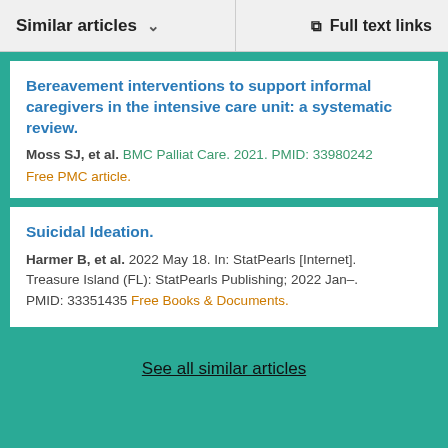Similar articles   Full text links
Bereavement interventions to support informal caregivers in the intensive care unit: a systematic review.
Moss SJ, et al. BMC Palliat Care. 2021. PMID: 33980242
Free PMC article.
Suicidal Ideation.
Harmer B, et al. 2022 May 18. In: StatPearls [Internet]. Treasure Island (FL): StatPearls Publishing; 2022 Jan–. PMID: 33351435 Free Books & Documents.
See all similar articles